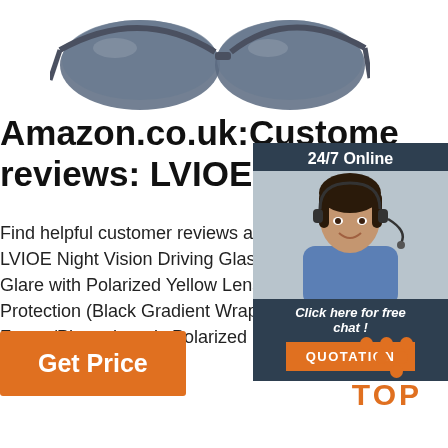[Figure (photo): Sunglasses with dark lenses, wrap-around style, viewed from above]
Amazon.co.uk:Customer reviews: LVIOE Night Vi
Find helpful customer reviews and review LVIOE Night Vision Driving Glasses Wrap Glare with Polarized Yellow Lens for Wom Protection (Black Gradient Wrap Around Frame/Photochromic Polarized Lens) at A Read honest and ...
[Figure (infographic): 24/7 Online chat widget with woman wearing headset, click here for free chat, QUOTATION button]
[Figure (illustration): Get Price orange button]
[Figure (logo): TOP logo with orange dots arranged in triangle above the word TOP in orange]